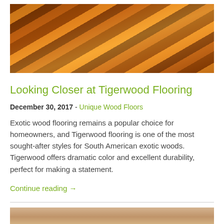[Figure (photo): Close-up photo of tigerwood flooring with dramatic orange, amber, and dark brown grain patterns in a radiating/herringbone pattern]
Looking Closer at Tigerwood Flooring
December 30, 2017 - Unique Wood Floors
Exotic wood flooring remains a popular choice for homeowners, and Tigerwood flooring is one of the most sought-after styles for South American exotic woods. Tigerwood offers dramatic color and excellent durability, perfect for making a statement.
Continue reading →
[Figure (photo): Partial photo of light tan/beige wood flooring, cut off at bottom of page]